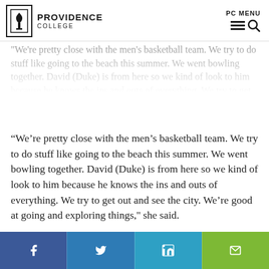Providence College | PC MENU
We're pretty close with the men's basketball team. We try to do stuff like going to the beach this summer. We went bowling together. David (Duke) is from here so we kind of look to him because he knows the ins and outs of everything. We try to get out and see the city. We're good at going and exploring things,'' she said.
“They come to our games, we go to theirs. We're always around each other. We try to get out and go to hockey games and lacrosse games, a lot of soccer games. Just being together in the athlete community. It means a lot to us. Having that extra friendship goes a long way,'' she said.
Social share bar: Facebook, Twitter, LinkedIn, Email